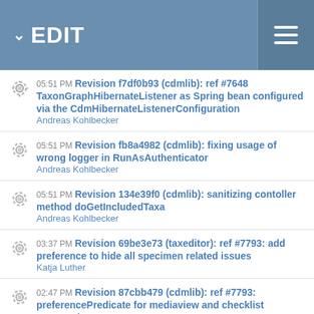EDIT
05:51 PM Revision f7df0b93 (cdmlib): ref #7648 TaxonGraphHibernateListener as Spring bean configured via the CdmHibernateListenerConfiguration
Andreas Kohlbecker
05:51 PM Revision fb8a4982 (cdmlib): fixing usage of wrong logger in RunAsAuthenticator
Andreas Kohlbecker
05:51 PM Revision 134e39f0 (cdmlib): sanitizing contoller method doGetIncludedTaxa
Andreas Kohlbecker
03:37 PM Revision 69be3e73 (taxeditor): ref #7793: add preference to hide all specimen related issues
Katja Luther
02:47 PM Revision 87cbb479 (cdmlib): ref #7793: preferencePredicate for mediaview and checklist perspective
Katja Luther
02:01 PM Revision cc4e78d1 (taxeditor): ref #7793: add